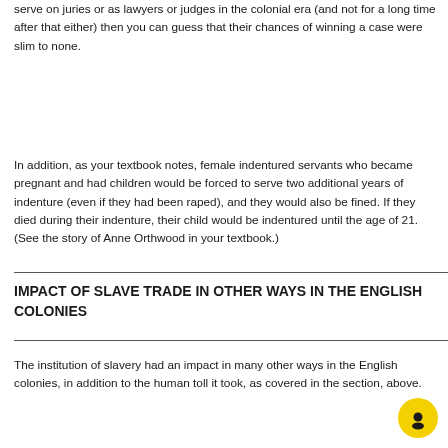serve on juries or as lawyers or judges in the colonial era (and not for a long time after that either) then you can guess that their chances of winning a case were slim to none.
In addition, as your textbook notes, female indentured servants who became pregnant and had children would be forced to serve two additional years of indenture (even if they had been raped), and they would also be fined. If they died during their indenture, their child would be indentured until the age of 21. (See the story of Anne Orthwood in your textbook.)
IMPACT OF SLAVE TRADE IN OTHER WAYS IN THE ENGLISH COLONIES
The institution of slavery had an impact in many other ways in the English colonies, in addition to the human toll it took, as covered in the section, above.